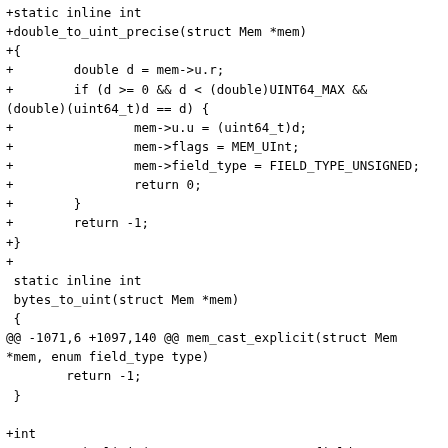[Figure (other): A unified diff / patch showing C code additions and context lines for two functions: double_to_uint_precise and mem_cast_implicit, with a diff hunk header @@ -1071,6 +1097,140 @@ mem_cast_explicit(struct Mem *mem, enum field_type type)]